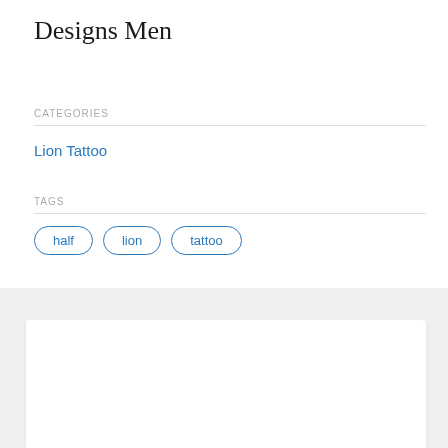Designs Men
CATEGORIES
Lion Tattoo
TAGS
half
lion
tattoo